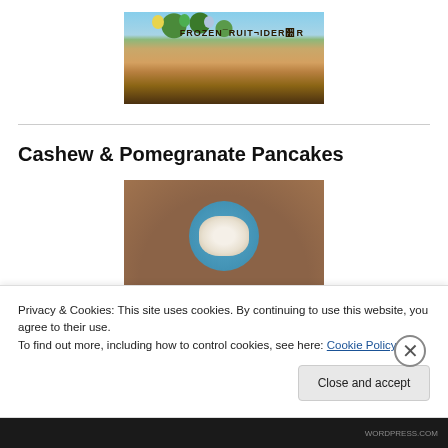[Figure (photo): Outdoor photo of a wooden stall/bar with string lights and coloured lanterns, sign reading FROZEN FRUIT CIDER BAR]
Cashew & Pomegranate Pancakes
[Figure (photo): Overhead photo of a plate of pancakes with toppings on a wooden table, with flowers, a cup and a red drink in the background]
Privacy & Cookies: This site uses cookies. By continuing to use this website, you agree to their use.
To find out more, including how to control cookies, see here: Cookie Policy
Close and accept